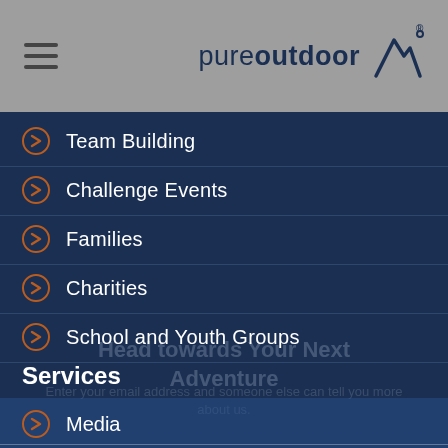pureoutdoor
Team Building
Challenge Events
Families
Charities
School and Youth Groups
Services
Media
£90.00 per person
VIEW DATES & BOOK NOW